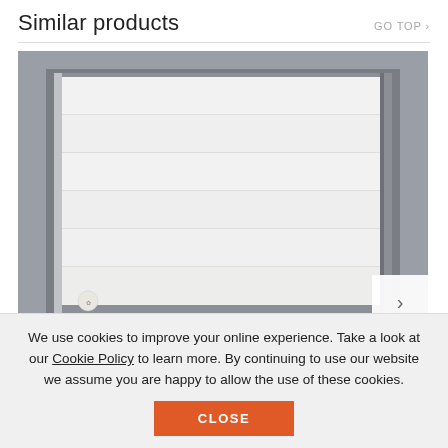Similar products
GO TOP ›
[Figure (photo): White sectional garage door installed in a grey concrete wall opening, with horizontal panel lines and a small manufacturer logo visible at the bottom left. A navigation arrow button is visible at the bottom right.]
We use cookies to improve your online experience. Take a look at our Cookie Policy to learn more. By continuing to use our website we assume you are happy to allow the use of these cookies.
CLOSE